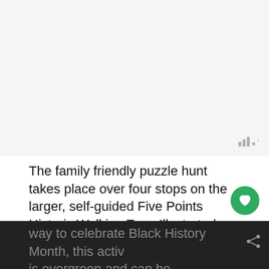[Figure (photo): Light gray placeholder image area at the top of the page]
The family friendly puzzle hunt takes place over four stops on the larger, self-guided Five Points Historic Walking Tour. Illustrated signs along the route tell stories about the people, places and ideas that helped shape African-American culture and history in Denver. Though intended to be a way to celebrate Black History Month, this activity is evergreen and can be completed at any time or